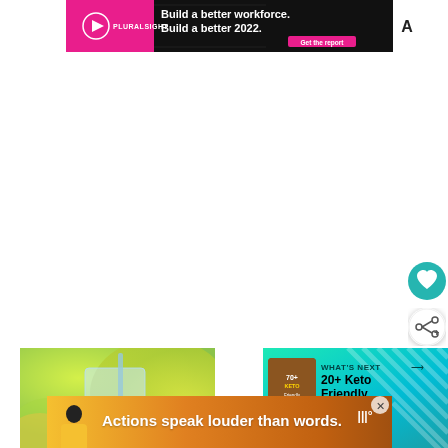[Figure (infographic): Pluralsight advertisement banner: dark background with pink Pluralsight logo on left, white bold text 'Build a better workforce. Build a better 2022.' with pink CTA button, white A-letter logo on right]
[Figure (other): Floating teal circular button with white heart icon (save/favorite)]
[Figure (other): Floating white circular button with share/social icon]
[Figure (photo): Photo of green outdoor scene with a glass containing a drink and straw, blurred green foliage background]
[Figure (infographic): What's Next panel with teal/cyan gradient background, thumbnail image of keto food, text 'WHAT'S NEXT' with arrow and '20+ Keto Friendly...' title]
[Figure (infographic): Bottom advertisement banner with warm orange/yellow gradient, person figure on left, bold white text 'Actions speak louder than words.' and logo on right, close X button]